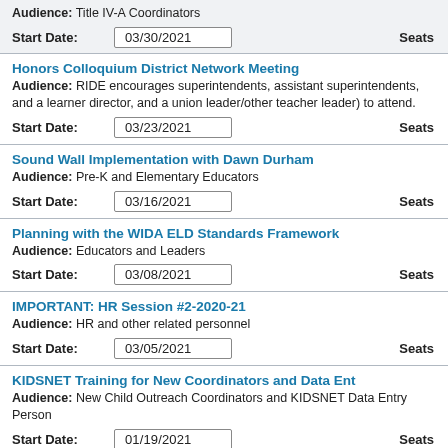Audience: Title IV-A Coordinators
Start Date: 03/30/2021  Seats
Honors Colloquium District Network Meeting
Audience: RIDE encourages superintendents, assistant superintendents, and a learner director, and a union leader/other teacher leader) to attend.
Start Date: 03/23/2021  Seats
Sound Wall Implementation with Dawn Durham
Audience: Pre-K and Elementary Educators
Start Date: 03/16/2021  Seats
Planning with the WIDA ELD Standards Framework
Audience: Educators and Leaders
Start Date: 03/08/2021  Seats
IMPORTANT: HR Session #2-2020-21
Audience: HR and other related personnel
Start Date: 03/05/2021  Seats
KIDSNET Training for New Coordinators and Data Ent
Audience: New Child Outreach Coordinators and KIDSNET Data Entry Person
Start Date: 01/19/2021  Seats
Reflection and Resources for Restart and Recovery